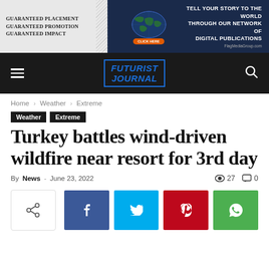[Figure (other): Advertisement banner: Guaranteed Placement, Guaranteed Promotion, Guaranteed Impact - Tell Your Story to the World Through Our Network of Digital Publications. FlagMediaGroup.com]
[Figure (other): Futurist Journal website navigation bar with hamburger menu, logo, and search icon]
Home › Weather › Extreme
Weather  Extreme
Turkey battles wind-driven wildfire near resort for 3rd day
By News - June 23, 2022  👁 27  💬 0
[Figure (other): Social share buttons: native share, Facebook, Twitter, Pinterest, WhatsApp]